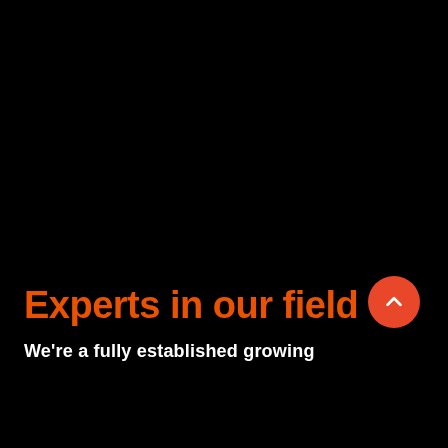[Figure (other): Hamburger menu icon — three horizontal white lines on black background, centered at top of page]
[Figure (photo): Dark/black background with silhouette image of a person in a field, very dark overall]
Experts in our field
We're a fully established growing